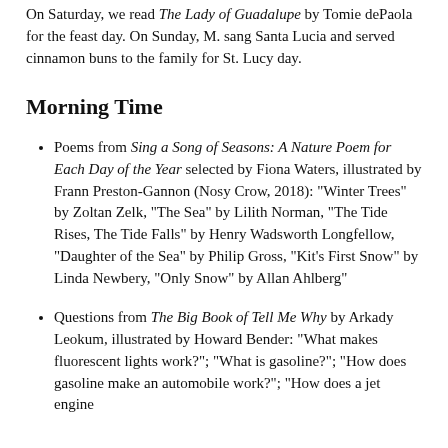On Saturday, we read The Lady of Guadalupe by Tomie dePaola for the feast day. On Sunday, M. sang Santa Lucia and served cinnamon buns to the family for St. Lucy day.
Morning Time
Poems from Sing a Song of Seasons: A Nature Poem for Each Day of the Year selected by Fiona Waters, illustrated by Frann Preston-Gannon (Nosy Crow, 2018): "Winter Trees" by Zoltan Zelk, "The Sea" by Lilith Norman, "The Tide Rises, The Tide Falls" by Henry Wadsworth Longfellow, "Daughter of the Sea" by Philip Gross, "Kit's First Snow" by Linda Newbery, "Only Snow" by Allan Ahlberg"
Questions from The Big Book of Tell Me Why by Arkady Leokum, illustrated by Howard Bender: "What makes fluorescent lights work?"; "What is gasoline?"; "How does gasoline make an automobile work?"; "How does a jet engine